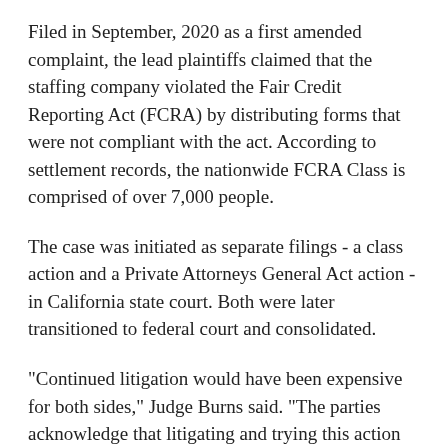Filed in September, 2020 as a first amended complaint, the lead plaintiffs claimed that the staffing company violated the Fair Credit Reporting Act (FCRA) by distributing forms that were not compliant with the act. According to settlement records, the nationwide FCRA Class is comprised of over 7,000 people.
The case was initiated as separate filings - a class action and a Private Attorneys General Act action - in California state court. Both were later transitioned to federal court and consolidated.
"Continued litigation would have been expensive for both sides," Judge Burns said. "The parties acknowledge that litigating and trying this action may have resulted in delay of any recovery, involved significant risk as to liability and certification, and led to possible appeals."